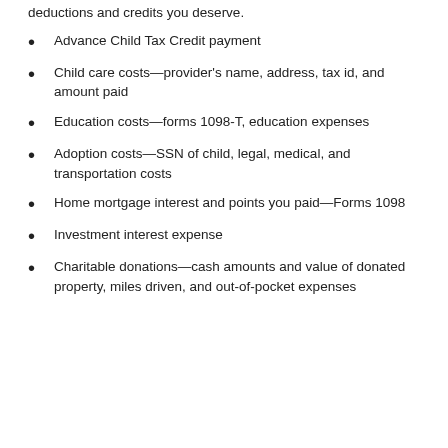deductions and credits you deserve.
Advance Child Tax Credit payment
Child care costs—provider's name, address, tax id, and amount paid
Education costs—forms 1098-T, education expenses
Adoption costs—SSN of child, legal, medical, and transportation costs
Home mortgage interest and points you paid—Forms 1098
Investment interest expense
Charitable donations—cash amounts and value of donated property, miles driven, and out-of-pocket expenses